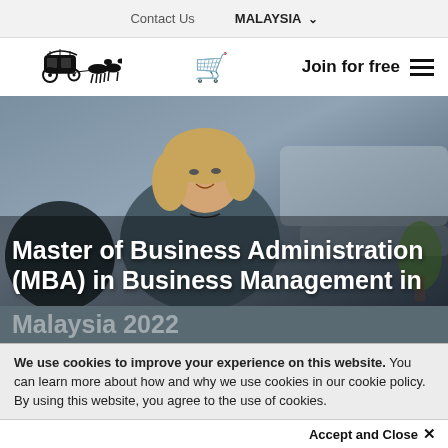Contact Us   MALAYSIA ▾
[Figure (logo): Carriage with horses logo (The Economist / Coursera-style logo)]
Join for free ☰
[Figure (photo): Photo of a woman with blonde hair smiling, in a business setting]
Master of Business Administration (MBA) in Business Management in Malaysia 2022
We use cookies to improve your experience on this website. You can learn more about how and why we use cookies in our cookie policy. By using this website, you agree to the use of cookies.
Accept and Close ×
Your browser settings do not allow cross-site tracking for advertising. Click on this page to allow AdRoll to use cross-site tracking to tailor ads to you. Learn more or opt out of this AdRoll tracking by clicking here. This message only appears once.